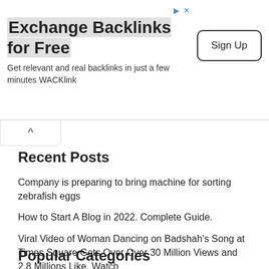[Figure (screenshot): Advertisement banner for WACKlink backlink exchange service with Sign Up button]
Exchange Backlinks for Free
Get relevant and real backlinks in just a few minutes WACKlink
Recent Posts
Company is preparing to bring machine for sorting zebrafish eggs
How to Start A Blog in 2022. Complete Guide.
Viral Video of Woman Dancing on Badshah's Song at Times Square Gets Over Over 30 Million Views and 2.8 Millions Like. Watch
How to Move From Blogger to WordPress Perfectly in 2022
How to Backup Blogger Website
Popular Categories